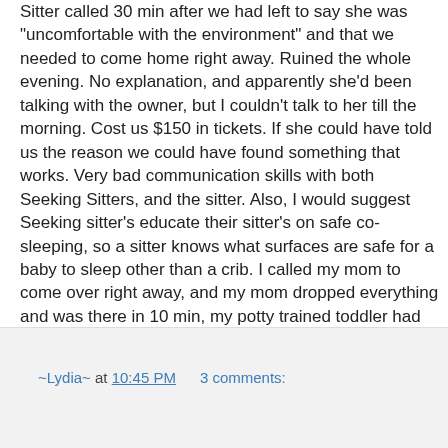Sitter called 30 min after we had left to say she was "uncomfortable with the environment" and that we needed to come home right away. Ruined the whole evening. No explanation, and apparently she'd been talking with the owner, but I couldn't talk to her till the morning. Cost us $150 in tickets. If she could have told us the reason we could have found something that works. Very bad communication skills with both Seeking Sitters, and the sitter. Also, I would suggest Seeking sitter's educate their sitter's on safe co-sleeping, so a sitter knows what surfaces are safe for a baby to sleep other than a crib. I called my mom to come over right away, and my mom dropped everything and was there in 10 min, my potty trained toddler had peed his pants because of the stress she put him through, and she quickly ran out the door, 2 min before we got home.
We'll see what they have to say tomorrow when they call me back.
~Lydia~ at 10:45 PM    3 comments: